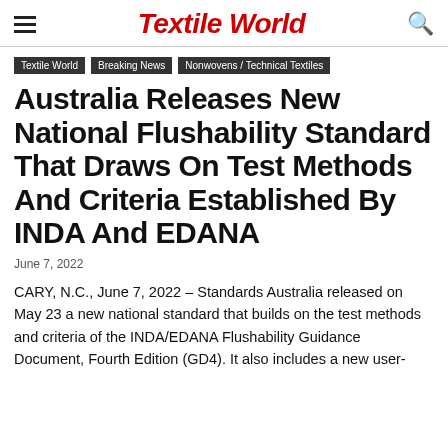Textile World
Textile World
Breaking News
Nonwovens / Technical Textiles
Australia Releases New National Flushability Standard That Draws On Test Methods And Criteria Established By INDA And EDANA
June 7, 2022
CARY, N.C., June 7, 2022 – Standards Australia released on May 23 a new national standard that builds on the test methods and criteria of the INDA/EDANA Flushability Guidance Document, Fourth Edition (GD4). It also includes a new user-